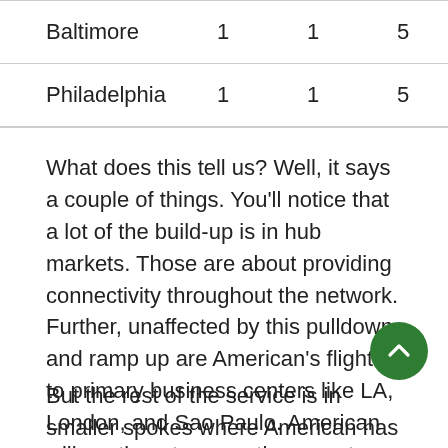| Baltimore | 1 | 1 | 5 |
| Philadelphia | 1 | 1 | 5 |
What does this tell us? Well, it says a couple of things. You'll notice that a lot of the build-up is in hub markets. Those are about providing connectivity throughout the network. Further, unaffected by this pulldown and ramp up are American's flights to primary business centers like LA, London, and Sao Paulo. American will continue to serve those routes since it's important from a network perspective.
But the rest of the service is in smaller spokes where American has a decent local presence. And that confirms to me that those are the routes American is